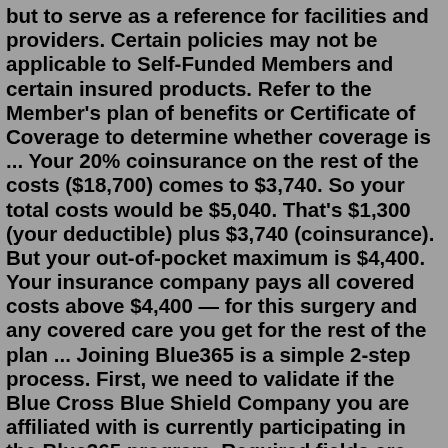but to serve as a reference for facilities and providers. Certain policies may not be applicable to Self-Funded Members and certain insured products. Refer to the Member's plan of benefits or Certificate of Coverage to determine whether coverage is ... Your 20% coinsurance on the rest of the costs ($18,700) comes to $3,740. So your total costs would be $5,040. That's $1,300 (your deductible) plus $3,740 (coinsurance). But your out-of-pocket maximum is $4,400. Your insurance company pays all covered costs above $4,400 — for this surgery and any covered care you get for the rest of the plan ... Joining Blue365 is a simple 2-step process. First, we need to validate if the Blue Cross Blue Shield Company you are affiliated with is currently participating in the Blue365 program. Required fields are marked with an asterisk *Plan K and Plan L have out-of-pocket limits of $6,220 and $3,110, respectively. After you meet these limits, your plan pays for 100 percent of covered costs. Now, let's compare the monthly ...Calling Blue Cross Blue Shield FEP Dental at 1-855-504-BLUE